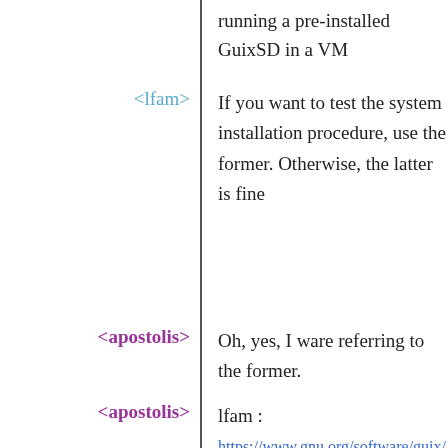running a pre-installed GuixSD in a VM
<lfam> If you want to test the system installation procedure, use the former. Otherwise, the latter is fine
<apostolis> Oh, yes, I ware referring to the former.
<apostolis> lfam :
https://www.gnu.org/software/guix/download/
<apostolis> If you look at the instructions for GuixSD QEMU image, it tells people to use a usb iso